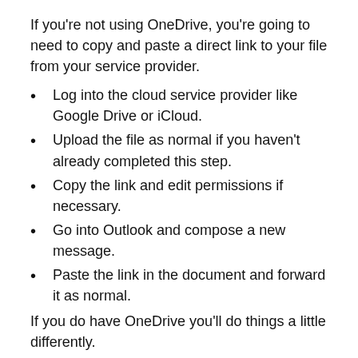If you're not using OneDrive, you're going to need to copy and paste a direct link to your file from your service provider.
Log into the cloud service provider like Google Drive or iCloud.
Upload the file as normal if you haven't already completed this step.
Copy the link and edit permissions if necessary.
Go into Outlook and compose a new message.
Paste the link in the document and forward it as normal.
If you do have OneDrive you'll do things a little differently.
Log into OneDrive to upload the file.
Log back into Outlook and compose a new message.
Select the OneDrive option and click on the file you want to send.